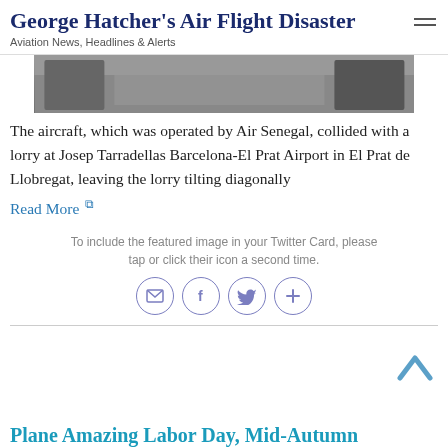George Hatcher's Air Flight Disaster
Aviation News, Headlines & Alerts
[Figure (photo): Partial photograph of aircraft on airport tarmac, cropped at top]
The aircraft, which was operated by Air Senegal, collided with a lorry at Josep Tarradellas Barcelona-El Prat Airport in El Prat de Llobregat, leaving the lorry tilting diagonally
Read More ↗
To include the featured image in your Twitter Card, please tap or click their icon a second time.
[Figure (infographic): Social sharing icons: email, Facebook, Twitter, more (plus sign), rendered as circular outlined buttons]
Plane Amazing Labor Day, Mid-Autumn